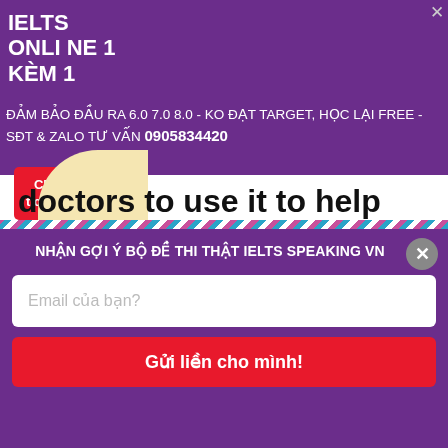[Figure (infographic): Purple advertisement banner for IELTS ONLINE 1 KÈM 1 course with text about guaranteed scores 6.0 7.0 8.0, free retake, phone/Zalo contact 0905834420, a red button 'Check thành tích học viên →', and a yellow decorative blob in the bottom right. Close X in top right corner.]
doctors to use it to help someone who is ill.
IELTS TUTOR xét ví dụ:
[Figure (infographic): Decorative diagonal stripe divider bar in blue, red, white.]
[Figure (infographic): Purple modal popup with title 'NHẬN GỢI Ý BỘ ĐỀ THI THẬT IELTS SPEAKING VN', email input field 'Email của bạn?', red submit button 'Gửi liền cho mình!', and grey close X button.]